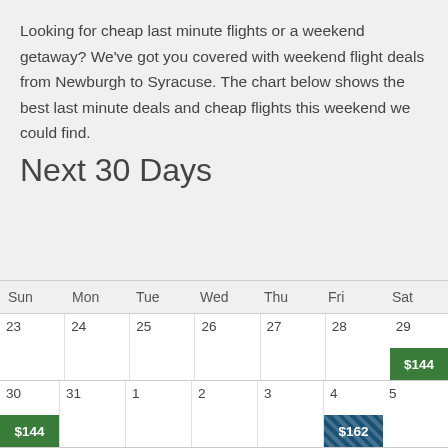Looking for cheap last minute flights or a weekend getaway? We've got you covered with weekend flight deals from Newburgh to Syracuse. The chart below shows the best last minute deals and cheap flights this weekend we could find.
Next 30 Days
| Sun | Mon | Tue | Wed | Thu | Fri | Sat |
| --- | --- | --- | --- | --- | --- | --- |
| 23 | 24 | 25 | 26 | 27 | 28 $144 | 29 |
| 30 $144 | 31 | 1 | 2 | 3 | 4 $162 | 5 |